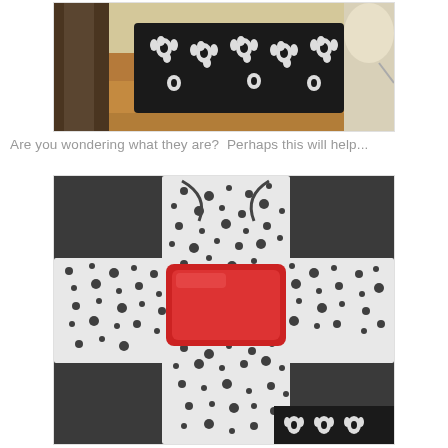[Figure (photo): Photo of a black and white floral fabric-covered box sitting on a wooden table, with a lamp visible in the background.]
Are you wondering what they are?  Perhaps this will help...
[Figure (photo): Photo of a red rectangular plastic lid placed on top of black and white polka-dot fabric pieces arranged in a cross/plus shape on a dark surface, with black and white floral fabric visible at the edge.]